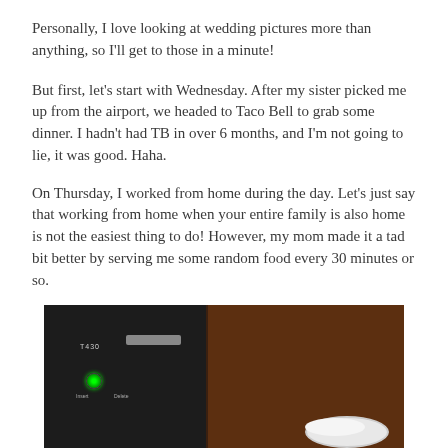Personally, I love looking at wedding pictures more than anything, so I'll get to those in a minute!
But first, let's start with Wednesday.  After my sister picked me up from the airport, we headed to Taco Bell to grab some dinner.  I hadn't had TB in over 6 months, and I'm not going to lie, it was good.  Haha.
On Thursday, I worked from home during the day.  Let's just say that working from home when your entire family is also home is not the easiest thing to do!  However, my mom made it a tad bit better by serving me some random food every 30 minutes or so.
[Figure (photo): Photo of a Lenovo ThinkPad T430 laptop on a wooden desk, with a plate visible in the lower right corner. The laptop has a green power indicator light glowing. Insert and Delete key labels are visible.]